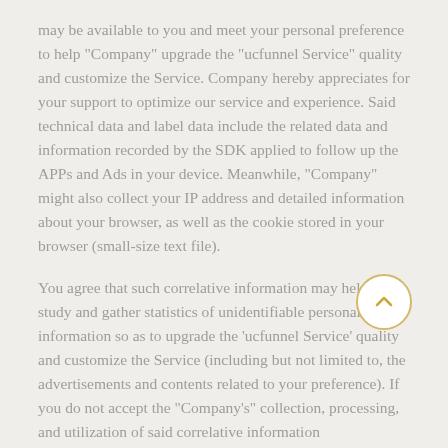may be available to you and meet your personal preference to help "Company" upgrade the "ucfunnel Service" quality and customize the Service. Company hereby appreciates for your support to optimize our service and experience. Said technical data and label data include the related data and information recorded by the SDK applied to follow up the APPs and Ads in your device. Meanwhile, "Company" might also collect your IP address and detailed information about your browser, as well as the cookie stored in your browser (small-size text file).
You agree that such correlative information may help us study and gather statistics of unidentifiable personal information so as to upgrade the 'ucfunnel Service' quality and customize the Service (including but not limited to, the advertisements and contents related to your preference). If you do not accept the "Company's" collection, processing, and utilization of said correlative information